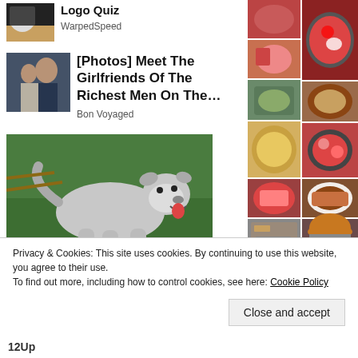[Figure (photo): Small thumbnail image of a person/logo quiz related image]
Logo Quiz
WarpedSpeed
[Figure (photo): Couple at an event - man in suit and woman with sunglasses]
[Photos] Meet The Girlfriends Of The Richest Men On The…
Bon Voyaged
[Figure (photo): White/grey pitbull dog standing on grass]
[Figure (photo): Grid of food photos including soups, stews, chicken, burgers]
Privacy & Cookies: This site uses cookies. By continuing to use this website, you agree to their use.
To find out more, including how to control cookies, see here: Cookie Policy
Close and accept
12Up